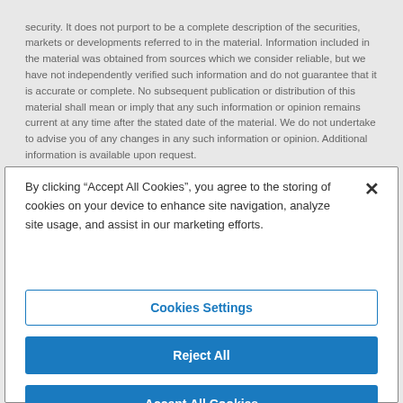security. It does not purport to be a complete description of the securities, markets or developments referred to in the material. Information included in the material was obtained from sources which we consider reliable, but we have not independently verified such information and do not guarantee that it is accurate or complete. No subsequent publication or distribution of this material shall mean or imply that any such information or opinion remains current at any time after the stated date of the material. We do not undertake to advise you of any changes in any such information or opinion. Additional information is available upon request.
By clicking “Accept All Cookies”, you agree to the storing of cookies on your device to enhance site navigation, analyze site usage, and assist in our marketing efforts.
Cookies Settings
Reject All
Accept All Cookies